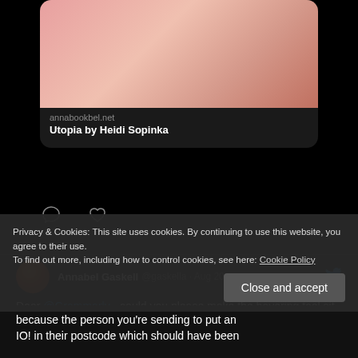[Figure (screenshot): Twitter/social media screenshot showing tweets on dark background with cookie consent banner overlay]
annabookbel.net
Utopia by Heidi Sopinka
Annabel Gaskell @gaskella · Aug 20
Dear @Grammarly - could you please make the hovering tool sit above or well to the side of the text please - it gets in the way in WP because it hides the first characters in the line/sentence - and I keep having to switch it off to get underneath it!
Privacy & Cookies: This site uses cookies. By continuing to use this website, you agree to their use.
To find out more, including how to control cookies, see here: Cookie Policy
because the person you're sending to put an IO! in their postcode which should have been